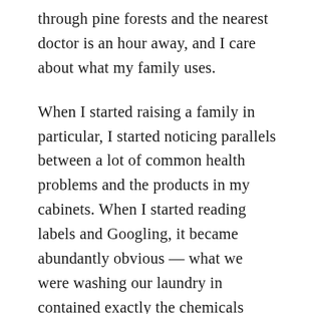through pine forests and the nearest doctor is an hour away, and I care about what my family uses.

When I started raising a family in particular, I started noticing parallels between a lot of common health problems and the products in my cabinets. When I started reading labels and Googling, it became abundantly obvious — what we were washing our laundry in contained exactly the chemicals responsible for what we were feeling.